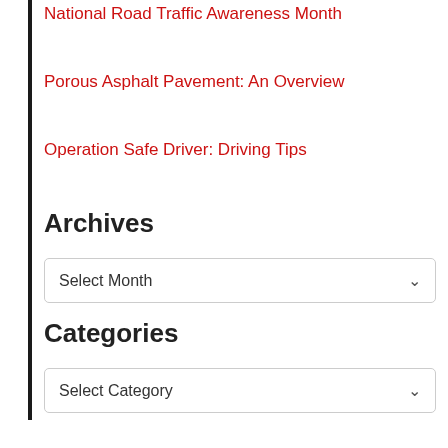National Road Traffic Awareness Month
Porous Asphalt Pavement: An Overview
Operation Safe Driver: Driving Tips
Archives
Select Month
Categories
Select Category